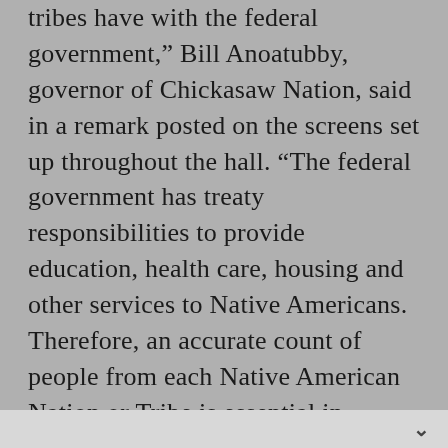tribes have with the federal government,” Bill Anoatubby, governor of Chickasaw Nation, said in a remark posted on the screens set up throughout the hall. “The federal government has treaty responsibilities to provide education, health care, housing and other services to Native Americans. Therefore, an accurate count of people from each Native American Nation or Tribe is essential in outlining the details of those responsibilities. By participating, we speak for the generations of native people that preceded us and for those yet to come.”

“Go home to your people who don’t want to